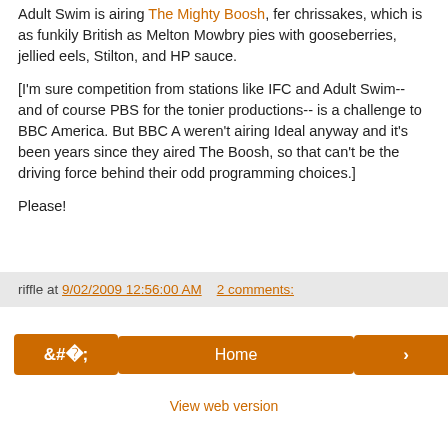Adult Swim is airing The Mighty Boosh, fer chrissakes, which is as funkily British as Melton Mowbry pies with gooseberries, jellied eels, Stilton, and HP sauce.
[I'm sure competition from stations like IFC and Adult Swim-- and of course PBS for the tonier productions-- is a challenge to BBC America. But BBC A weren't airing Ideal anyway and it's been years since they aired The Boosh, so that can't be the driving force behind their odd programming choices.]
Please!
riffle at 9/02/2009 12:56:00 AM   2 comments:
Home
View web version